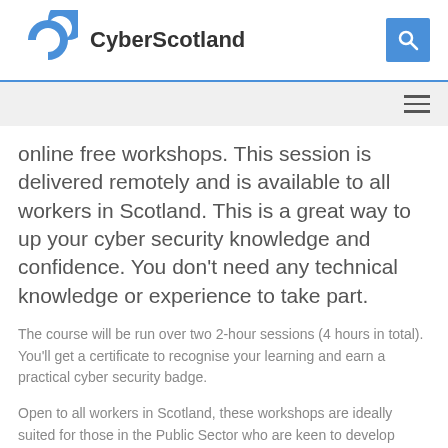CyberScotland
online free workshops. This session is delivered remotely and is available to all workers in Scotland. This is a great way to up your cyber security knowledge and confidence. You don't need any technical knowledge or experience to take part.
The course will be run over two 2-hour sessions (4 hours in total). You'll get a certificate to recognise your learning and earn a practical cyber security badge.
Open to all workers in Scotland, these workshops are ideally suited for those in the Public Sector who are keen to develop